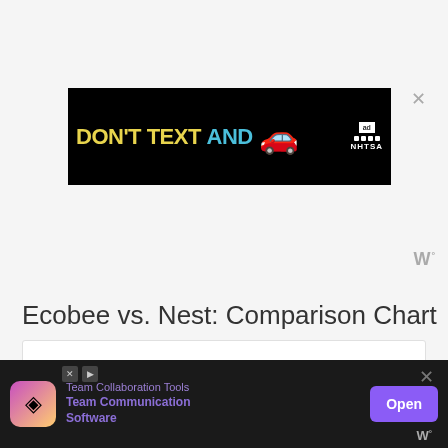[Figure (other): Advertisement banner: black background with text 'DON'T TEXT AND' in yellow and cyan, a red car emoji, and NHTSA logo with ad choice icon and X close button]
[Figure (other): Weather/temperature widget showing 'W' with degree symbol in gray]
Ecobee vs. Nest: Comparison Chart
[Figure (other): Comparison chart box with heading 'Ecobee vs Nest' and subtitle 'Comparison Chart' on white background]
[Figure (other): Bottom advertisement: dark background with colorful app icon, 'Team Collaboration Tools' / 'Team Communication Software' text in purple, Open button, and X close button]